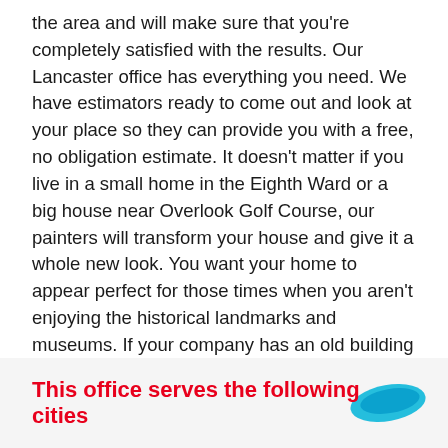the area and will make sure that you're completely satisfied with the results. Our Lancaster office has everything you need. We have estimators ready to come out and look at your place so they can provide you with a free, no obligation estimate. It doesn't matter if you live in a small home in the Eighth Ward or a big house near Overlook Golf Course, our painters will transform your house and give it a whole new look. You want your home to appear perfect for those times when you aren't enjoying the historical landmarks and museums. If your company has an old building in Red Rose Commons, make the place look bright again by painting on some new colors.
This office serves the following cities